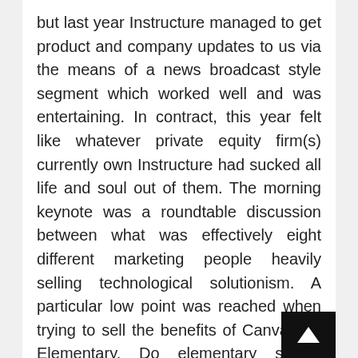but last year Instructure managed to get product and company updates to us via the means of a news broadcast style segment which worked well and was entertaining. In contract, this year felt like whatever private equity firm(s) currently own Instructure had sucked all life and soul out of them. The morning keynote was a roundtable discussion between what was effectively eight different marketing people heavily selling technological solutionism. A particular low point was reached when trying to sell the benefits of Canvas for Elementary. Do elementary school children (primary school), really need a VLE? Really?
This was followed by a 'partner and product hall' for corporate sponsors of the event to sell their wares, and were divided into platinum, gold and silver tiers depending on how much money they had paid Instructure to be there. (I imagine)